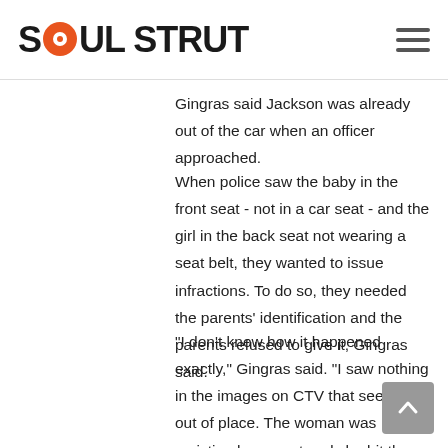SOUL STRUT
Gingras said Jackson was already out of the car when an officer approached.
When police saw the baby in the front seat - not in a car seat - and the girl in the back seat not wearing a seat belt, they wanted to issue infractions. To do so, they needed the parents' identification and the parents refused to give it, Gingras said.
"I don't know how it happened exactly," Gingras said. "I saw nothing in the images on CTV that seemed out of place. The woman was resisting her arrest and she bit the police officer. That's not normal." Spring said her husband, who has used a cane since a car accident two years ago left him disabled, was also handcuffed and the four of them - including her infant son and